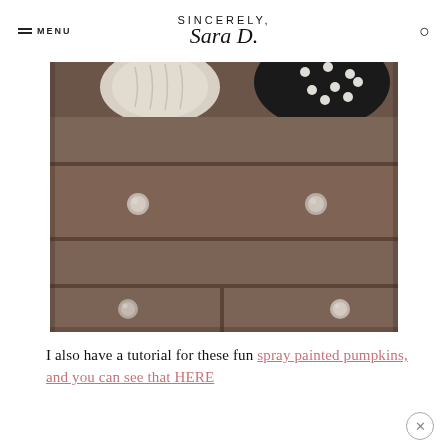SINCERELY, Sara D.
[Figure (photo): Close-up photo of a dark brown wooden dresser with round knob drawer pulls. On top of the dresser are two decorative pumpkins — one cream/white ribbed pumpkin and one black polka-dot pumpkin.]
I also have a tutorial for these fun spray painted pumpkins, and you can see that HERE